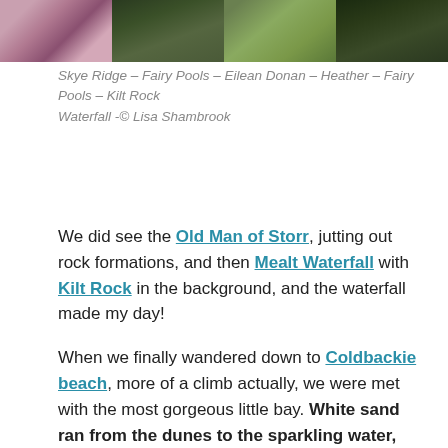[Figure (photo): Strip of four landscape photos: purple heather/flowers, dark green forest, lighter green coastal/hillside, dark forest/trees]
Skye Ridge – Fairy Pools – Eilean Donan – Heather – Fairy Pools – Kilt Rock Waterfall -© Lisa Shambrook
We did see the Old Man of Storr, jutting out rock formations, and then Mealt Waterfall with Kilt Rock in the background, and the waterfall made my day!
When we finally wandered down to Coldbackie beach, more of a climb actually, we were met with the most gorgeous little bay. White sand ran from the dunes to the sparkling water, and what water! It merged from every green to every blue you could imagine...from crystal white Quartz froth, to pale Amazonite, and Adventurine, then to Turquoise, and rich Apatite blue, before darkening to the tone of Sodalite. An ocean of jewels!
Quartzite and Pyrite glittered in the rocks and I quickly